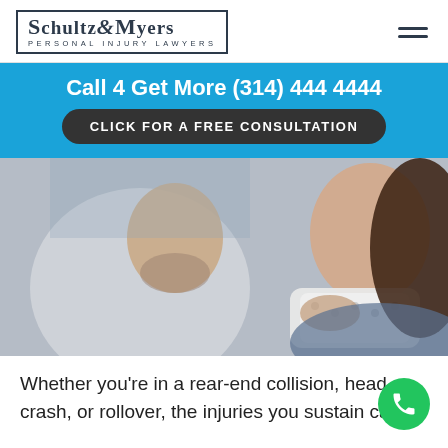[Figure (logo): Schultz & Myers Personal Injury Lawyers logo with bordered box]
Call 4 Get More (314) 444 4444
CLICK FOR A FREE CONSULTATION
[Figure (photo): Doctor fitting a neck brace on a female patient in a clinical setting]
Whether you're in a rear-end collision, head-on crash, or rollover, the injuries you sustain can be